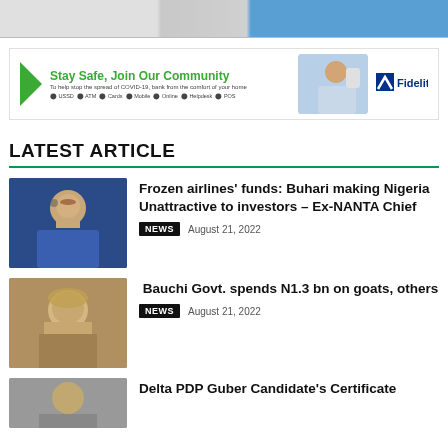[Figure (photo): Top image strip showing partial images of people]
[Figure (illustration): Fidelity Bank advertisement banner: Stay Safe, Join Our Community - To help stop the spread of COVID-19, bank from the comfort of your home. Shows person with phone and Fidelity logo.]
LATEST ARTICLE
[Figure (photo): Headshot of woman wearing glasses and blue blazer]
Frozen airlines' funds: Buhari making Nigeria Unattractive to investors – Ex-NANTA Chief
NEWS   August 21, 2022
[Figure (photo): Headshot of man wearing traditional attire]
Bauchi Govt. spends N1.3 bn on goats, others
NEWS   August 21, 2022
[Figure (photo): Partial headshot at bottom of page]
Delta PDP Guber Candidate's Certificate